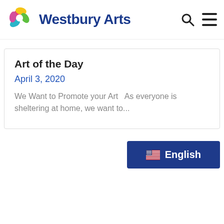Westbury Arts
Art of the Day
April 3, 2020
We Want to Promote your Art  As everyone is sheltering at home, we want to...
English